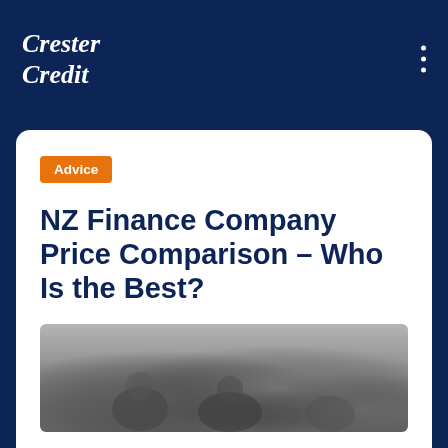Crester Credit
Advice
NZ Finance Company Price Comparison – Who Is the Best?
[Figure (photo): Black and white photograph of people, partially visible at bottom of page]